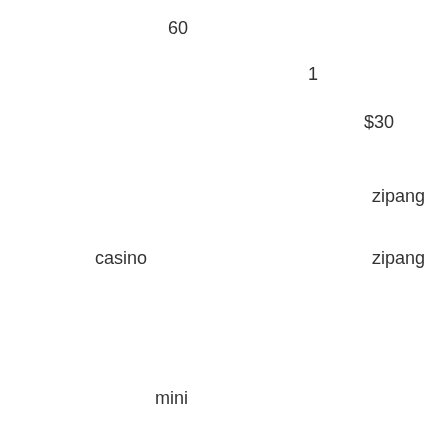60
1
$30
zipang
casino
zipang
$45
mini
24
2,500
10
100